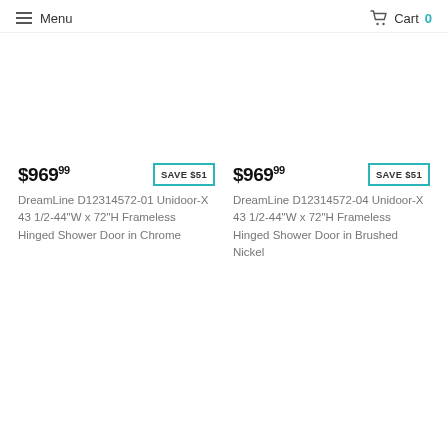Menu  Cart 0
$969.99  SAVE $51
DreamLine D12314572-01 Unidoor-X 43 1/2-44"W x 72"H Frameless Hinged Shower Door in Chrome
$969.99  SAVE $51
DreamLine D12314572-04 Unidoor-X 43 1/2-44"W x 72"H Frameless Hinged Shower Door in Brushed Nickel